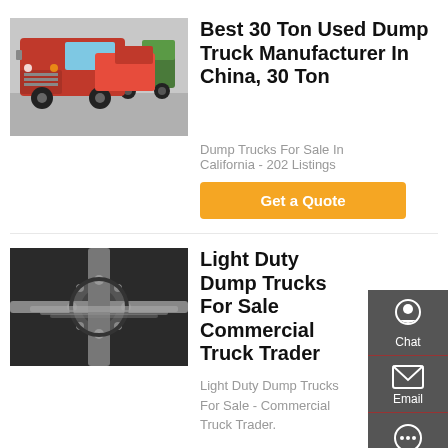[Figure (photo): Red heavy dump trucks/tractor units parked in a lot, with a green truck in background]
Best 30 Ton Used Dump Truck Manufacturer In China, 30 Ton
Dump Trucks For Sale In California - 202 Listings
Get a Quote
[Figure (photo): Close-up underside view of heavy truck axle/suspension components]
Light Duty Dump Trucks For Sale Commercial Truck Trader
Light Duty Dump Trucks For Sale - Commercial Truck Trader.